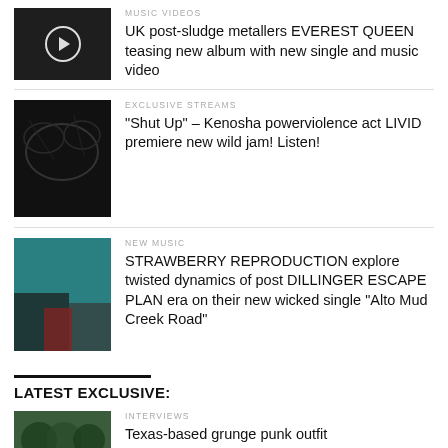MUSIC VIDEOS
[Figure (photo): Black and white photo of band members with a play button overlay circle]
UK post-sludge metallers EVEREST QUEEN teasing new album with new single and music video
EXCLUSIVE STREAMS
[Figure (photo): Black and white close-up photo of drums/cymbals]
“Shut Up” – Kenosha powerviolence act LIVID premiere new wild jam! Listen!
NEW MUSIC
[Figure (photo): Color photo of two people against a teal/green wall]
STRAWBERRY REPRODUCTION explore twisted dynamics of post DILLINGER ESCAPE PLAN era on their new wicked single “Alto Mud Creek Road”
LATEST EXCLUSIVE:
INTERVIEWS
[Figure (photo): Color photo of band members with green tones]
Texas-based grunge punk outfit